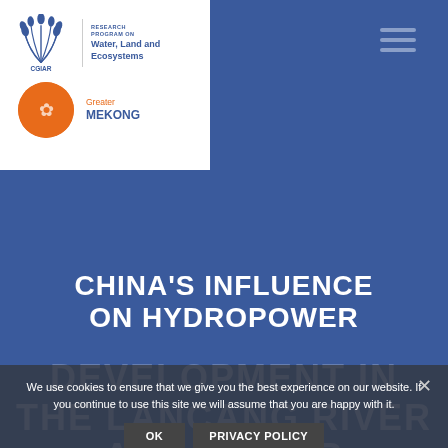[Figure (logo): CGIAR Research Program on Water, Land and Ecosystems logo alongside Greater Mekong logo on white background]
CHINA'S INFLUENCE ON HYDROPOWER DEVELOPMENT IN THE LANCANG RIVER AND LOWER MEKONG RIVER
We use cookies to ensure that we give you the best experience on our website. If you continue to use this site we will assume that you are happy with it.